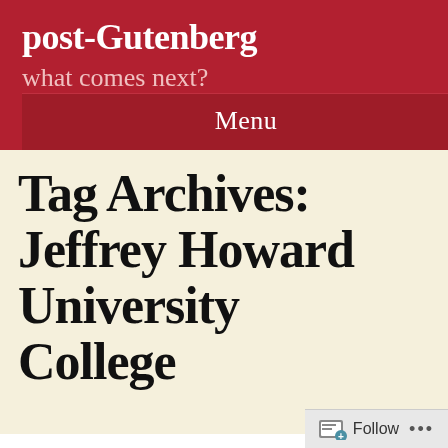post-Gutenberg
what comes next?
Menu
Tag Archives: Jeffrey Howard University College